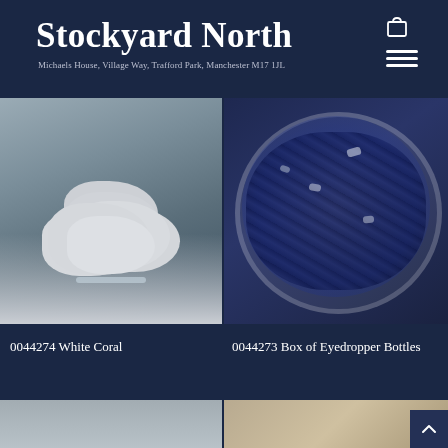Stockyard North
Michaels House, Village Way, Trafford Park, Manchester M17 1JL
[Figure (photo): White coral sculpture on a reflective surface with blurred background]
[Figure (photo): Bowl filled with cobalt blue glass eyedropper bottles]
0044274 White Coral
0044273 Box of Eyedropper Bottles
[Figure (photo): Partial view of product, bottom left, light grey background]
[Figure (photo): Partial view of product, bottom right, warm toned surface]